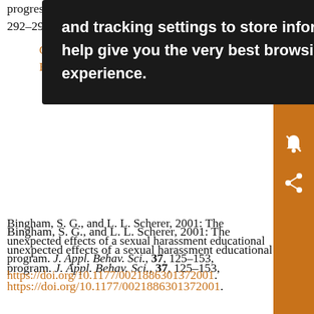progres… 292–29… 16-6.
Cro… E…
[Figure (screenshot): Dark tooltip overlay with white text reading: 'and tracking settings to store information that help give you the very best browsing experience.']
Bingham, S. G., and L. L. Scherer, 2001: The unexpected effects of a sexual harassment educational program. J. Appl. Behav. Sci., 37, 125–153, https://doi.org/10.1177/0021886301372001.
Crossref | Search Google Scholar
Export Citation
Bondestam, F., and M. Lundqvist, 2020: Sexual harassment in higher education—A systematic review. Eur. J. Higher Educ., 10, 397–419, https://doi.org/10.1080/21568235.2020.1729833.